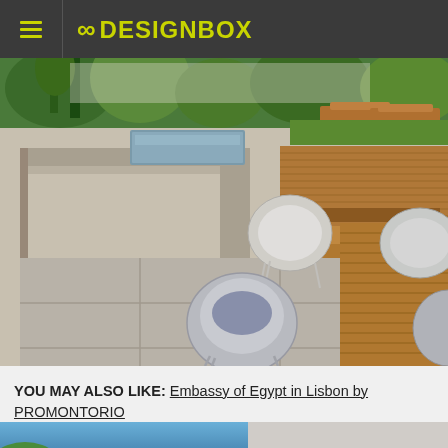8DESIGNBOX
[Figure (photo): Outdoor terrace with concrete seating/planter walls, wooden dining table and white chairs, lounge chairs and tropical plants in background]
YOU MAY ALSO LIKE: Embassy of Egypt in Lisbon by PROMONTORIO
[Figure (photo): Partial view of modern building exterior with blue sky and trees]